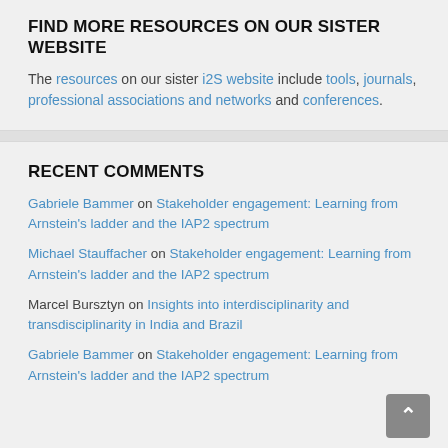FIND MORE RESOURCES ON OUR SISTER WEBSITE
The resources on our sister i2S website include tools, journals, professional associations and networks and conferences.
RECENT COMMENTS
Gabriele Bammer on Stakeholder engagement: Learning from Arnstein's ladder and the IAP2 spectrum
Michael Stauffacher on Stakeholder engagement: Learning from Arnstein's ladder and the IAP2 spectrum
Marcel Bursztyn on Insights into interdisciplinarity and transdisciplinarity in India and Brazil
Gabriele Bammer on Stakeholder engagement: Learning from Arnstein's ladder and the IAP2 spectrum